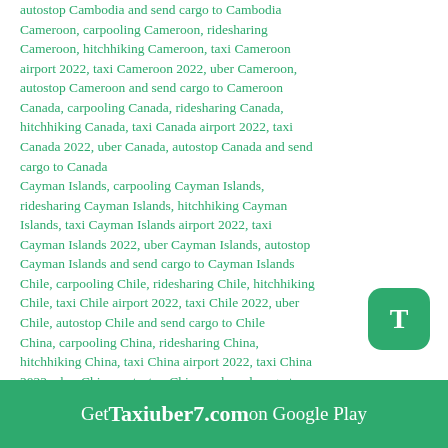autostop Cambodia and send cargo to Cambodia Cameroon, carpooling Cameroon, ridesharing Cameroon, hitchhiking Cameroon, taxi Cameroon airport 2022, taxi Cameroon 2022, uber Cameroon, autostop Cameroon and send cargo to Cameroon Canada, carpooling Canada, ridesharing Canada, hitchhiking Canada, taxi Canada airport 2022, taxi Canada 2022, uber Canada, autostop Canada and send cargo to Canada Cayman Islands, carpooling Cayman Islands, ridesharing Cayman Islands, hitchhiking Cayman Islands, taxi Cayman Islands airport 2022, taxi Cayman Islands 2022, uber Cayman Islands, autostop Cayman Islands and send cargo to Cayman Islands Chile, carpooling Chile, ridesharing Chile, hitchhiking Chile, taxi Chile airport 2022, taxi Chile 2022, uber Chile, autostop Chile and send cargo to Chile China, carpooling China, ridesharing China, hitchhiking China, taxi China airport 2022, taxi China 2022, uber China, autostop China and send cargo to China Colombia, carpooling Colombia, ridesharing Colombia, hitchhiking Colombia, taxi Colombia airport 2022, taxi Colombia 2022, uber Colombia, autostop Colombia and send cargo to Colombia
[Figure (other): Green rounded square button with white letter T]
Get Taxiuber7.com on Google Play